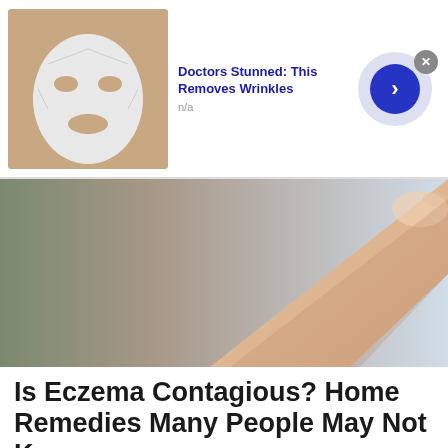[Figure (infographic): Ad banner: face mask thumbnail on left, 'Doctors Stunned: This Removes Wrinkles' title in blue, 'n/a' subtitle, arrow button on right, close X button]
[Figure (photo): Large image of a finger touching skin, close-up, blurred background]
Is Eczema Contagious? Home Remedies Many People May Not Know
Eczema Cream | Sponsored
[Figure (infographic): Second ad banner: face mask thumbnail on left, 'Doctors Stunned: This Removes Wrinkles' title in blue, 'n/a' subtitle, arrow button on right, close X button]